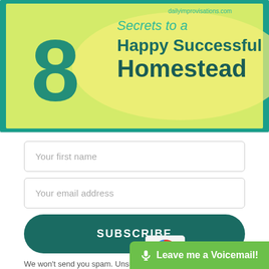[Figure (illustration): Banner image for '8 Secrets to a Happy Successful Homestead' with teal border, yellow-green background, large teal number 8, and text in teal and dark teal. URL dailyimprovisations.com visible at top right.]
Your first name
Your email address
SUBSCRIBE
We won't send you spam. Unsubscribe at any time.
BUILT WITH ConvertKit
🎙 Leave me a Voicemail!